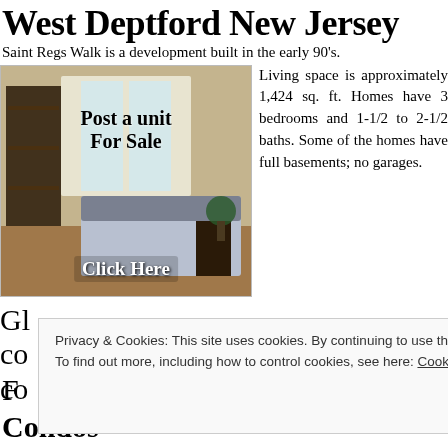West Deptford New Jersey
Saint Regs Walk is a development built in the early 90's.
[Figure (photo): Interior bedroom photo with overlay text 'Post a unit For Sale' and 'Click Here']
Living space is approximately 1,424 sq. ft. Homes have 3 bedrooms and 1-1/2 to 2-1/2 baths. Some of the homes have full basements; no garages.
Gl... co... co...
Privacy & Cookies: This site uses cookies. By continuing to use this website, you agree to their use. To find out more, including how to control cookies, see here: Cookie Policy
Close and accept
F... k
Condos